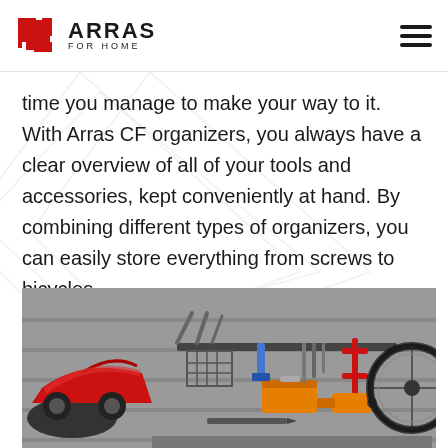ARRAS for HOME
time you manage to make your way to it. With Arras CF organizers, you always have a clear overview of all of your tools and accessories, kept conveniently at hand. By combining different types of organizers, you can easily store everything from screws to bicycles.
[Figure (photo): Garage wall organizer system showing tools, a red classic car on the left, various tools and accessories mounted on a slatwall panel, including a wire basket, toolbox, drill, clamps, and bicycle mount on the right.]